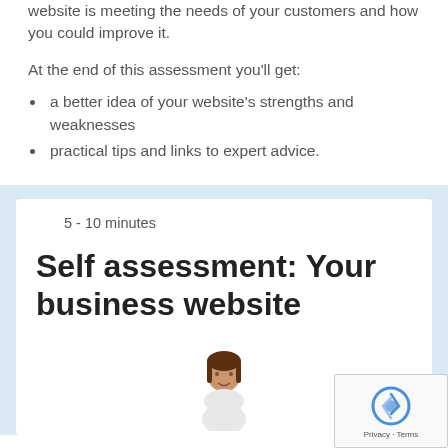website is meeting the needs of your customers and how you could improve it.
At the end of this assessment you'll get:
a better idea of your website's strengths and weaknesses
practical tips and links to expert advice.
5 - 10 minutes
Self assessment: Your business website
[Figure (illustration): Illustration of a person (woman with brown hair), partially visible at the bottom of the card]